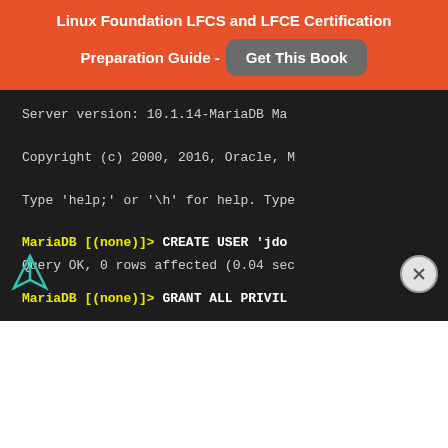Linux Foundation LFCS and LFCE Certification Preparation Guide - Get This Book
[Figure (screenshot): Terminal screenshot showing MariaDB server version 10.1.14-MariaDB, Copyright (c) 2000, 2016, Oracle, M... Type 'help;' or '\h' for help. Type... MariaDB [(none)]> CREATE USER 'jdo... Query OK, 0 rows affected (0.04 sec... MariaDB [(none)]> GRANT ALL PRIVIL...]
[Figure (logo): Feather/arrow logo icon on left side overlay]
[Figure (other): Close (X) button circle on right side overlay]